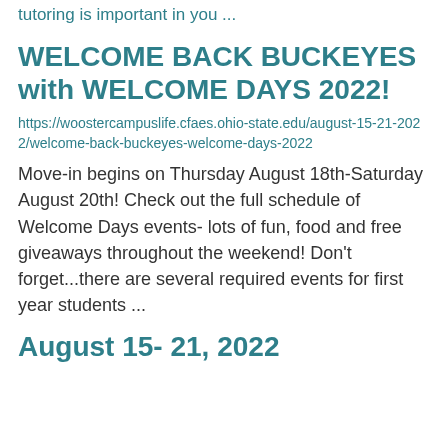tutoring is important in you ...
WELCOME BACK BUCKEYES with WELCOME DAYS 2022!
https://woostercampuslife.cfaes.ohio-state.edu/august-15-21-2022/welcome-back-buckeyes-welcome-days-2022
Move-in begins on Thursday August 18th-Saturday August 20th!  Check out the full schedule of  Welcome Days  events- lots of fun, food and free giveaways throughout the weekend! Don't forget...there are several required events for first year students ...
August 15- 21, 2022